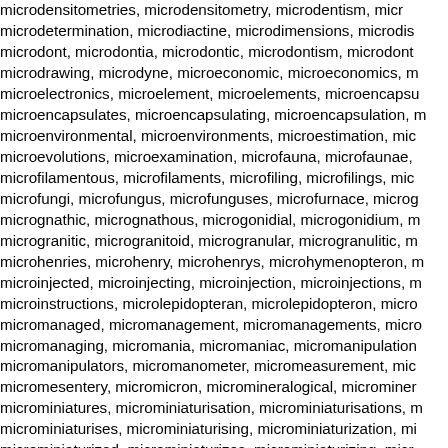microdensitometries, microdensitometry, microdentism, microdetermination, microdiactine, microdimensions, microdis microdont, microdontia, microdontic, microdontism, microdont microdrawing, microdyne, microeconomic, microeconomics, m microelectronics, microelement, microelements, microencapsu microencapsulates, microencapsulating, microencapsulation, m microenvironmental, microenvironments, microestimation, mic microevolutions, microexamination, microfauna, microfaunae, microfilamentous, microfilaments, microfiling, microfilings, mic microfungi, microfungus, microfunguses, microfurnace, microg micrognathic, micrognathous, microgonidial, microgonidium, m microgranitic, microgranitoid, microgranular, microgranulitic, m microhenries, microhenry, microhenrys, microhymenopteron, m microinjected, microinjecting, microinjection, microinjections, m microinstructions, microlepidopteran, microlepidopteron, micro micromanaged, micromanagement, micromanagements, micro micromanaging, micromania, micromaniac, micromanipulation micromanipulators, micromanometer, micromeasurement, mic micromesentery, micromicron, micromineralogical, microminer microminiatures, microminiaturisation, microminiaturisations, m microminiaturises, microminiaturising, microminiaturization, mi microminiaturized, microminiaturizes, microminiaturizing, micr microneedles, micronemous, micronesia, micronesian, micron micronized, micronizes, micronizing, micronometer, microns, m micronucleus, micronucleuses, micronutrient, micronutrients, m